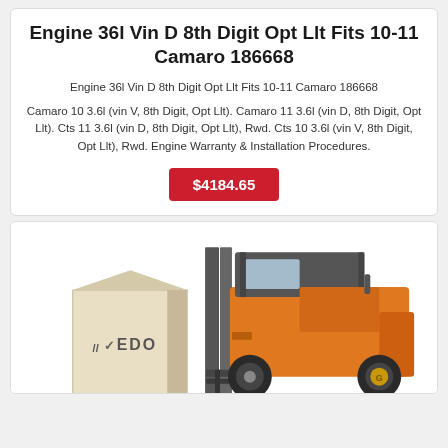Engine 36l Vin D 8th Digit Opt Llt Fits 10-11 Camaro 186668
Engine 36l Vin D 8th Digit Opt Llt Fits 10-11 Camaro 186668
Camaro 10 3.6l (vin V, 8th Digit, Opt Llt). Camaro 11 3.6l (vin D, 8th Digit, Opt Llt). Cts 11 3.6l (vin D, 8th Digit, Opt Llt), Rwd. Cts 10 3.6l (vin V, 8th Digit, Opt Llt), Rwd. Engine Warranty & Installation Procedures.
$4184.65
[Figure (photo): A forklift (orange and black) next to a beige box with the VEDO logo on it]